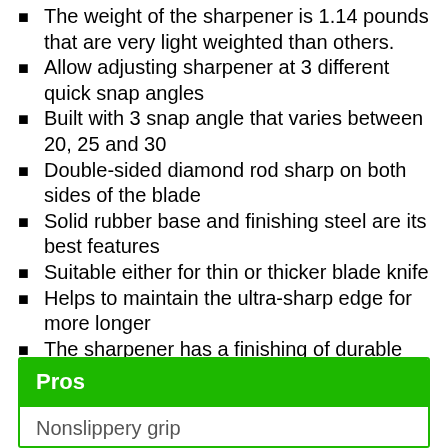The weight of the sharpener is 1.14 pounds that are very light weighted than others.
Allow adjusting sharpener at 3 different quick snap angles
Built with 3 snap angle that varies between 20, 25 and 30
Double-sided diamond rod sharp on both sides of the blade
Solid rubber base and finishing steel are its best features
Suitable either for thin or thicker blade knife
Helps to maintain the ultra-sharp edge for more longer
The sharpener has a finishing of durable black powder coating
Pros
Nonslippery grip